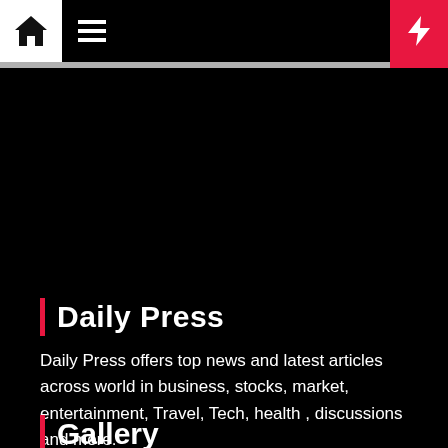Daily Press navigation bar with home icon, menu icon, and bolt icon
Daily Press
Daily Press offers top news and latest articles across world in business, stocks, market, entertainment, Travel, Tech, health , discussions and more.
Gallery